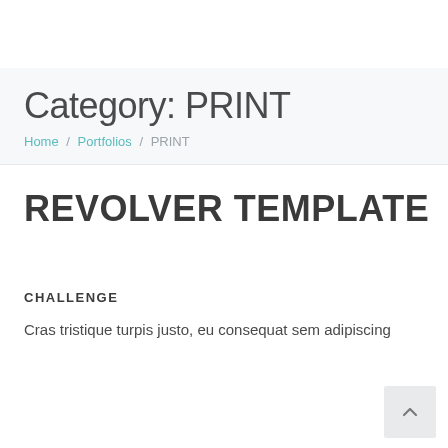Category: PRINT
Home / Portfolios / PRINT
REVOLVER TEMPLATE
CHALLENGE
Cras tristique turpis justo, eu consequat sem adipiscing